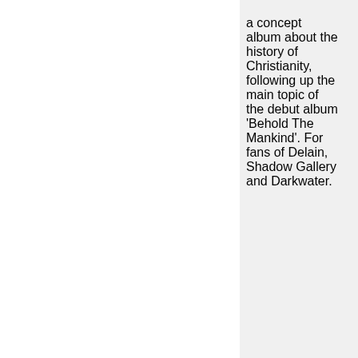a concept album about the history of Christianity, following up the main topic of the debut album 'Behold The Mankind'. For fans of Delain, Shadow Gallery and Darkwater.
[Figure (photo): Album cover for Sabbat - Disembody, showing a green illustrated figure against dark background with text at bottom reading Disembody]
SABBAT - DISEMBODY
CD (Compact Disc) - NUCLEAR WAR NOW - 24/07/2019 - in METAL / STONER / HARDROCK
Japanese outfit Sabbat's third full-length,